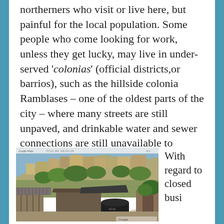northerners who visit or live here, but painful for the local population. Some people who come looking for work, unless they get lucky, may live in under-served 'colonias' (official districts, or barrios), such as the hillside colonia Ramblases – one of the oldest parts of the city – where many streets are still unpaved, and drinkable water and sewer connections are still unavailable to perhaps  10% of the residents.
[Figure (photo): Street-level photograph (Google Street View) of the hillside colonia Ramblases showing informal housing structures, unpaved terrain, vegetation, and a water storage tank in the foreground.]
With regard to closed busi